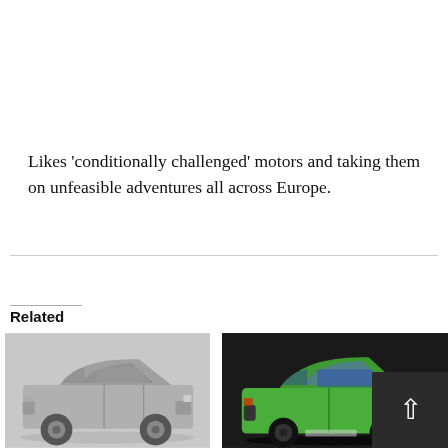Likes 'conditionally challenged' motors and taking them on unfeasible adventures all across Europe.
Related
[Figure (photo): Black and white photo of a small classic hatchback car, side view on white background]
[Figure (photo): Color photo of a bright green small classic hatchback car on dark background]